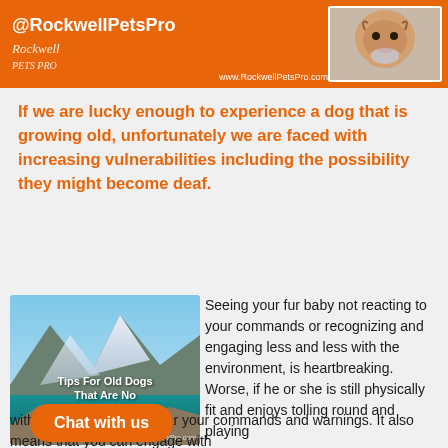[Figure (infographic): Orange banner header with @RockwellPetsPro handle, Rockwell Pets Pro logo, www.RockwellPetsPro.com URL, and photo of a dog on the right]
If we are lucky enough to experience a dog that is growing old, unfortunately we are faced with increasing vulnerabilities including the possibility they might become deaf.
[Figure (photo): Mountain lake scenic photo with text overlay: Tips For Old Dogs That Are No Longer Listening]
Seeing your fur baby not reacting to your commands or recognizing and engaging less and less with the environment, is heartbreaking. Worse, if he or she is still physically fit and enjoys tolling round and playing with you, but does not hear your commands and warnings. It also means that you can engage with